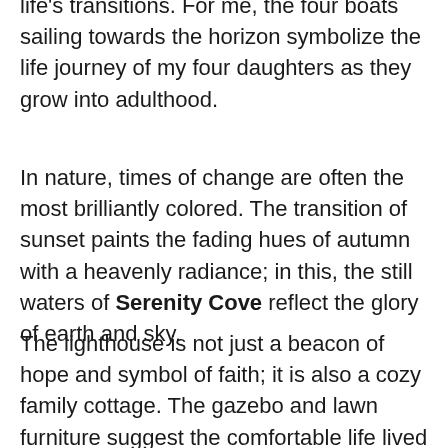life's transitions. For me, the four boats sailing towards the horizon symbolize the life journey of my four daughters as they grow into adulthood.
In nature, times of change are often the most brilliantly colored. The transition of sunset paints the fading hues of autumn with a heavenly radiance; in this, the still waters of Serenity Cove reflect the glory of earth and sky.
The lighthouse is not just a beacon of hope and symbol of faith; it is also a cozy family cottage. The gazebo and lawn furniture suggest the comfortable life lived within this safe...